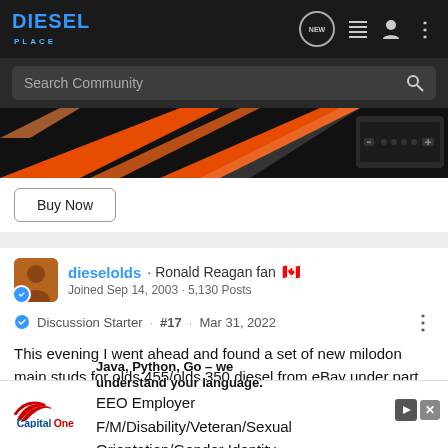Diesel Place - Search Community
[Figure (screenshot): Orange and black racing graphic product image with a small device (controller) visible on the right side]
Buy Now
dieselolds · Ronald Reagan fan [Canadian flag]
Joined Sep 14, 2003 · 5,130 Posts
Discussion Starter · #17 · Mar 31, 2022
This evening I went ahead and found a set of new milodon main studs for olds 455/olds 350 diesel from eBay under part number [ad overlay] ...ls were alot mo... [ad overlay] ...roduce
[Figure (screenshot): Capital One advertisement overlay: Java, Python, Go – we understand your language. EEO Employer F/M/Disability/Veteran/Sexual Orientation/Gender Identity]